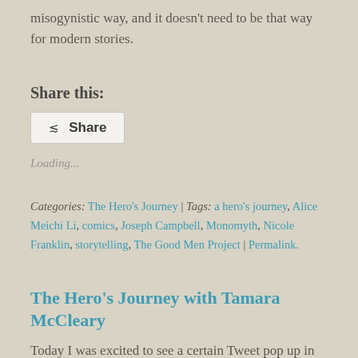misogynistic way, and it doesn't need to be that way for modern stories.
Share this:
Share
Loading...
Categories: The Hero's Journey | Tags: a hero's journey, Alice Meichi Li, comics, Joseph Campbell, Monomyth, Nicole Franklin, storytelling, The Good Men Project | Permalink.
The Hero's Journey with Tamara McCleary
Today I was excited to see a certain Tweet pop up in my